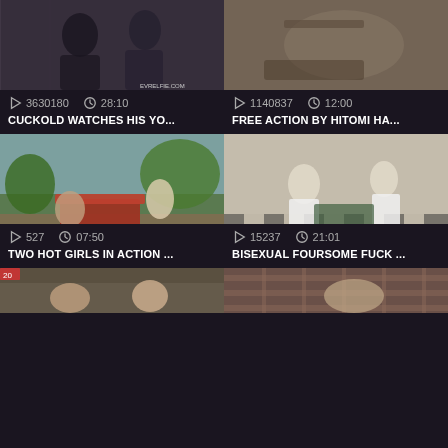[Figure (screenshot): Video thumbnail - dark romantic scene, two people near window]
3630180   28:10
CUCKOLD WATCHES HIS YO...
[Figure (screenshot): Video thumbnail - close up adult content]
1140837   12:00
FREE ACTION BY HITOMI HA...
[Figure (screenshot): Video thumbnail - two women outdoors on deck]
527   07:50
TWO HOT GIRLS IN ACTION ...
[Figure (screenshot): Video thumbnail - vintage black and white medical scene]
15237   21:01
BISEXUAL FOURSOME FUCK ...
[Figure (screenshot): Video thumbnail - partial view at bottom left]
[Figure (screenshot): Video thumbnail - partial view at bottom right]